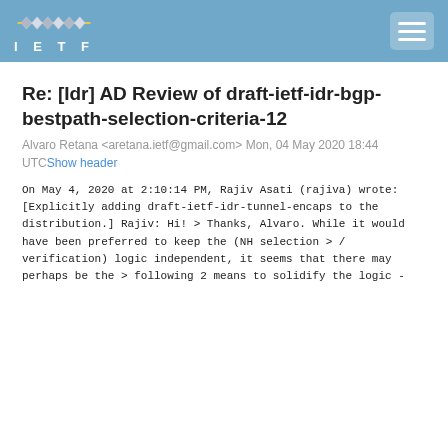IETF
Re: [Idr] AD Review of draft-ietf-idr-bgp-bestpath-selection-criteria-12
Alvaro Retana <aretana.ietf@gmail.com> Mon, 04 May 2020 18:44 UTCShow header
On May 4, 2020 at 2:10:14 PM, Rajiv Asati (rajiva) wrote:

[Explicitly adding draft-ietf-idr-tunnel-encaps to the
distribution.]


Rajiv:

Hi!


> Thanks, Alvaro. While it would have been preferred to
keep the (NH selection
> / verification) logic independent, it seems that there
may perhaps be the
> following 2 means to solidify the logic -